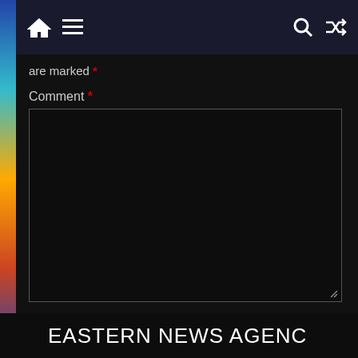Navigation bar with home icon, hamburger menu, search icon, and shuffle icon
are marked *
Comment *
[Figure (screenshot): Large dark comment text input area with resize handle at bottom-right]
Name *
EASTERN NEWS AGENCY